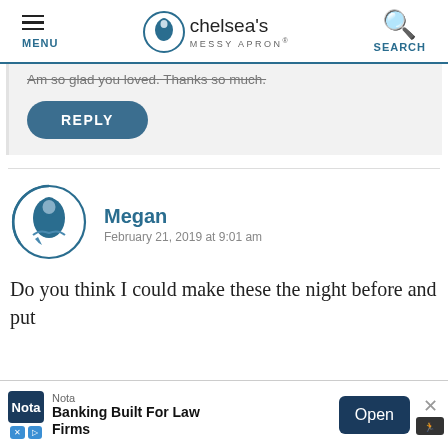MENU | chelsea's MESSY APRON® | SEARCH
Am so glad you loved. Thanks so much.
REPLY
Megan
February 21, 2019 at 9:01 am
Do you think I could make these the night before and put m... s of the m... ge°
Nota Banking Built For Law Firms Open